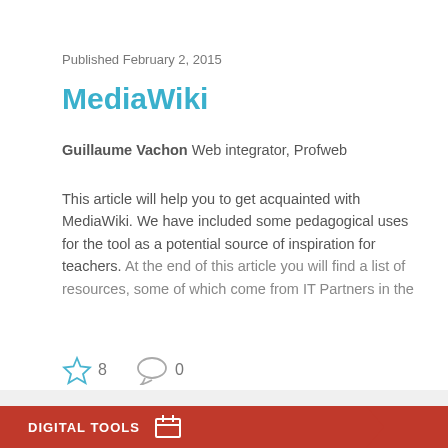Published February 2, 2015
MediaWiki
Guillaume Vachon Web integrator, Profweb
This article will help you to get acquainted with MediaWiki. We have included some pedagogical uses for the tool as a potential source of inspiration for teachers. At the end of this article you will find a list of resources, some of which come from IT Partners in the
8   0
Multidisciplinary
DIGITAL TOOLS